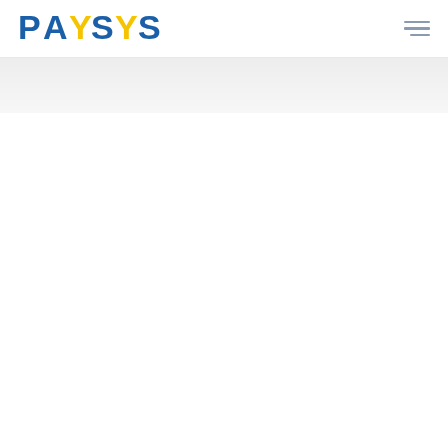PAYSYS
[Figure (logo): PAYSYS logo with blue and yellow lettering, navigation hamburger menu icon on the right]